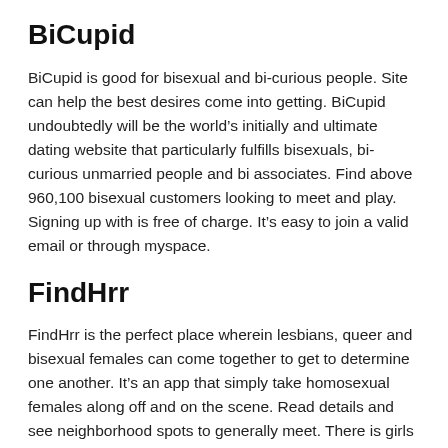BiCupid
BiCupid is good for bisexual and bi-curious people. Site can help the best desires come into getting. BiCupid undoubtedly will be the world’s initially and ultimate dating website that particularly fulfills bisexuals, bi-curious unmarried people and bi associates. Find above 960,100 bisexual customers looking to meet and play. Signing up with is free of charge. It’s easy to join a valid email or through myspace.
FindHrr
FindHrr is the perfect place wherein lesbians, queer and bisexual females can come together to get to determine one another. It’s an app that simply take homosexual females along off and on the scene. Read details and see neighborhood spots to generally meet. There is girls to the highway or yahoo by-place. You may want to hunting by